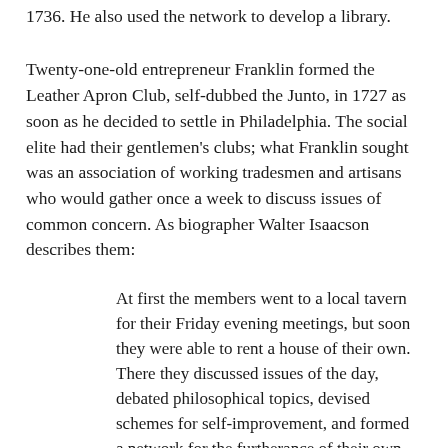1736. He also used the network to develop a library.
Twenty-one-old entrepreneur Franklin formed the Leather Apron Club, self-dubbed the Junto, in 1727 as soon as he decided to settle in Philadelphia. The social elite had their gentlemen's clubs; what Franklin sought was an association of working tradesmen and artisans who would gather once a week to discuss issues of common concern. As biographer Walter Isaacson describes them:
At first the members went to a local tavern for their Friday evening meetings, but soon they were able to rent a house of their own. There they discussed issues of the day, debated philosophical topics, devised schemes for self-improvement, and formed a network for the furtherance of their own careers. . .
The tone Franklin set for Junto meetings was earnest. Initiates were required to stand, lay their hands on their breast, and answer properly four questions: Do you have disrespect for any current member? Do you love mankind in general regardless of religion or profession? Do you feel people should ever be punished because of their